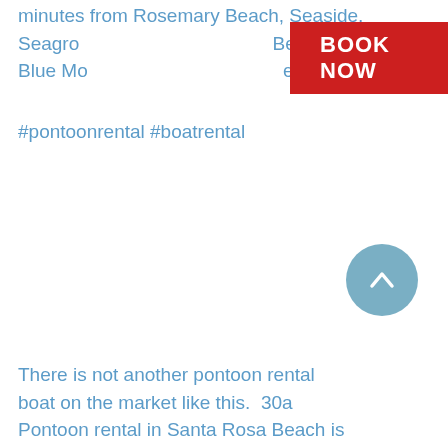minutes from Rosemary Beach, Seaside, Seagrove, Inlet Beach, Blue Mountain Beach Seaside #pontoonrental #boatrental
[Figure (other): Red BOOK NOW button overlay]
[Figure (other): Circular blue scroll-to-top button with upward chevron arrow]
There is not another pontoon rental boat on the market like this. 30a Pontoon rental in Santa Rosa Beach is